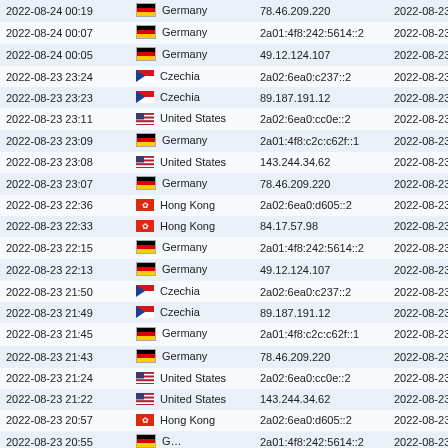| Datetime | Country | IP | Session Start |
| --- | --- | --- | --- |
| 2022-08-24 00:19 | Germany | 78.46.209.220 | 2022-08-23 23:54 |
| 2022-08-24 00:07 | Germany | 2a01:4f8:242:5614::2 | 2022-08-23 23:54 |
| 2022-08-24 00:05 | Germany | 49.12.124.107 | 2022-08-23 23:54 |
| 2022-08-23 23:24 | Czechia | 2a02:6ea0:c237::2 | 2022-08-23 22:55 |
| 2022-08-23 23:23 | Czechia | 89.187.191.12 | 2022-08-23 22:55 |
| 2022-08-23 23:11 | United States | 2a02:6ea0:cc0e::2 | 2022-08-23 22:55 |
| 2022-08-23 23:09 | Germany | 2a01:4f8:c2c:c62f::1 | 2022-08-23 22:55 |
| 2022-08-23 23:08 | United States | 143.244.34.62 | 2022-08-23 22:55 |
| 2022-08-23 23:07 | Germany | 78.46.209.220 | 2022-08-23 22:55 |
| 2022-08-23 22:36 | Hong Kong | 2a02:6ea0:d605::2 | 2022-08-23 21:54 |
| 2022-08-23 22:33 | Hong Kong | 84.17.57.98 | 2022-08-23 21:54 |
| 2022-08-23 22:15 | Germany | 2a01:4f8:242:5614::2 | 2022-08-23 21:54 |
| 2022-08-23 22:13 | Germany | 49.12.124.107 | 2022-08-23 21:54 |
| 2022-08-23 21:50 | Czechia | 2a02:6ea0:c237::2 | 2022-08-23 20:54 |
| 2022-08-23 21:49 | Czechia | 89.187.191.12 | 2022-08-23 20:54 |
| 2022-08-23 21:45 | Germany | 2a01:4f8:c2c:c62f::1 | 2022-08-23 20:54 |
| 2022-08-23 21:43 | Germany | 78.46.209.220 | 2022-08-23 20:54 |
| 2022-08-23 21:24 | United States | 2a02:6ea0:cc0e::2 | 2022-08-23 20:54 |
| 2022-08-23 21:22 | United States | 143.244.34.62 | 2022-08-23 20:54 |
| 2022-08-23 20:57 | Hong Kong | 2a02:6ea0:d605::2 | 2022-08-23 20:54 |
| 2022-08-23 20:55 | Germany | 2a01:4f8:242:5614::2 | 2022-08-23 20:54 |